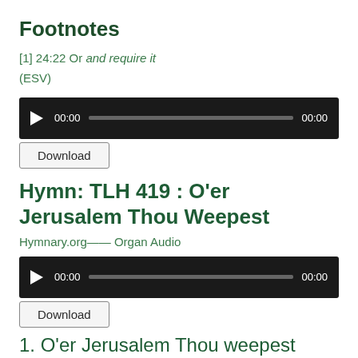Footnotes
[1] 24:22 Or and require it
(ESV)
[Figure (other): Audio player widget with play button, progress bar, and time display showing 00:00 / 00:00]
Download
Hymn: TLH 419 : O’er Jerusalem Thou Weepest
Hymnary.org— — Organ Audio
[Figure (other): Audio player widget with play button, progress bar, and time display showing 00:00 / 00:00]
Download
1. O’er Jerusalem Thou weepest